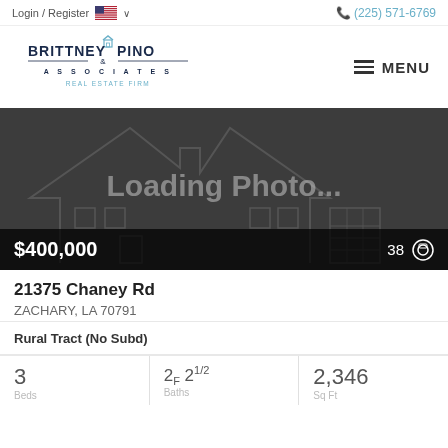Login / Register  (225) 571-6769
[Figure (logo): Brittney Pino & Associates Real Estate Firm logo with house icon]
[Figure (photo): Loading Photo... placeholder with house outline on dark background. Price: $400,000, 38 photos.]
21375 Chaney Rd
ZACHARY, LA 70791
Rural Tract (No Subd)
3  Beds   2F 21/2  Baths   2,346  Sq Ft